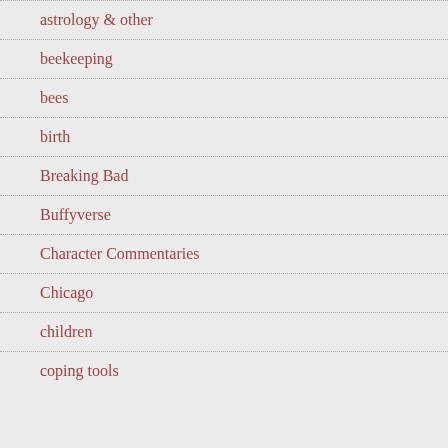astrology & other
beekeeping
bees
birth
Breaking Bad
Buffyverse
Character Commentaries
Chicago
children
coping tools